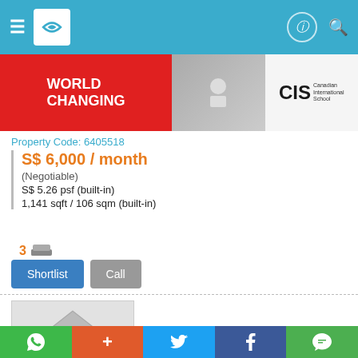[Figure (screenshot): Navigation bar with hamburger menu, logo, and icons on teal background]
[Figure (photo): CIS Canadian International School advertisement banner with 'WORLD CHANGING' text on red background]
Property Code: 6405518
S$ 6,000 / month
(Negotiable)
S$ 5.26 psf (built-in)
1,141 sqft / 106 sqm (built-in)
3 [bed icon]
[Figure (screenshot): Shortlist and Call buttons]
[Figure (photo): Property placeholder image with house icon]
[Figure (screenshot): Bottom social sharing bar with WhatsApp, plus, Twitter, Facebook, WeChat icons]